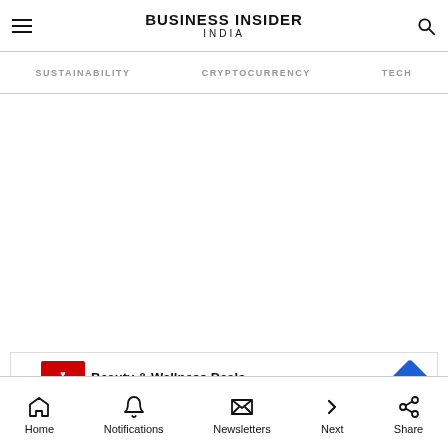BUSINESS INSIDER INDIA
SUSTAINABILITY  CRYPTOCURRENCY  TECH
[Figure (screenshot): Advertisement banner for CVS Pharmacy: Beauty & Wellness Deals, CVS]
Home  Notifications  Newsletters  Next  Share